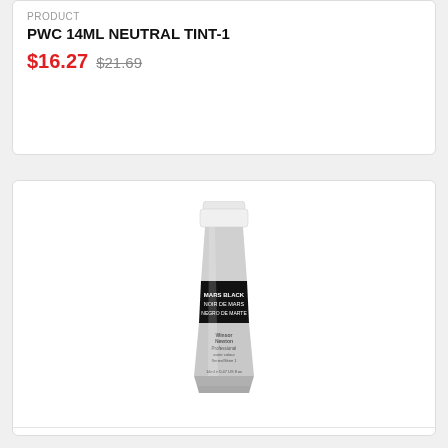PRODUCT
PWC 14ML NEUTRAL TINT-1
$16.27 $21.69
[Figure (photo): Winsor & Newton Professional Watercolour tube, Mars Black, 14ml, silver tube with black label]
PRODUCT SOLD OUT
PWC 14ML MARS BLACK-1